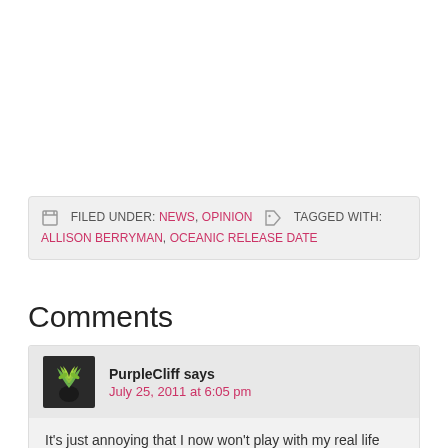FILED UNDER: NEWS, OPINION  TAGGED WITH: ALLISON BERRYMAN, OCEANIC RELEASE DATE
Comments
PurpleCliff says July 25, 2011 at 6:05 pm
It's just annoying that I now won't play with my real life friends for at least a few months. They, unlike me, aren't 'internet-savvy' and 'TOR-obsessed' enough to purchase the game online.